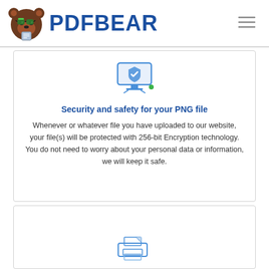PDFBEAR
[Figure (illustration): Shield/monitor security icon with green indicator]
Security and safety for your PNG file
Whenever or whatever file you have uploaded to our website, your file(s) will be protected with 256-bit Encryption technology. You do not need to worry about your personal data or information, we will keep it safe.
[Figure (illustration): Printer icon with document]